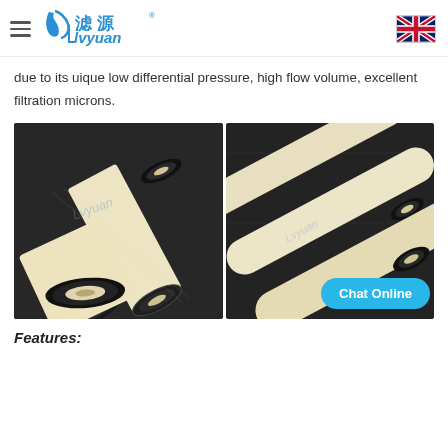Lvyuan logo and navigation header with UK flag
due to its uique low differential pressure, high flow volume, excellent filtration microns.
[Figure (photo): Two product photos side by side showing high flow filter cartridges on dark background. Left photo shows close-up of filter tube ends with black rubber seals. Right photo shows three filter tubes lying diagonally on dark background.]
Features: